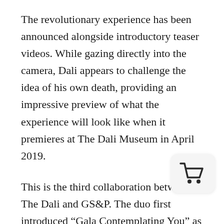The revolutionary experience has been announced alongside introductory teaser videos. While gazing directly into the camera, Dali appears to challenge the idea of his own death, providing an impressive preview of what the experience will look like when it premieres at The Dali Museum in April 2019.
This is the third collaboration between The Dali and GS&P. The duo first introduced “Gala Contemplating You” as part of a 2014 exhibition which turned a visitor’s selfie into a projected, full-scale replica of the 1976 monumental painting Gala Contemplating the Mediterranean Sea Which at Twenty Meters Becomes the Portrait of Abraham Lincoln (Homage to Rothko). Then in 2016, they partnered together for the “Dreams of Dali” virtual reality experience, which transports viewers into Dali’s painting, Archaeological Reminiscence of Millet’s “Angelus.”
[Figure (illustration): Shopping cart icon in a rounded rectangle overlay in the lower right area of the page]